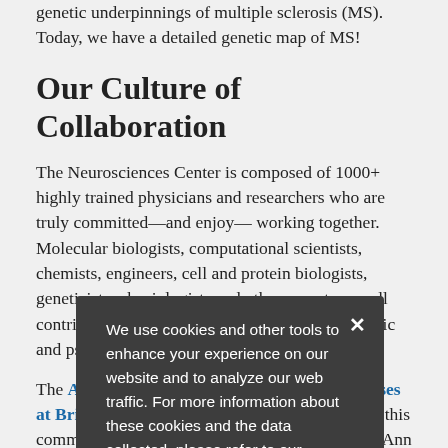genetic underpinnings of multiple sclerosis (MS). Today, we have a detailed genetic map of MS!
Our Culture of Collaboration
The Neurosciences Center is composed of 1000+ highly trained physicians and researchers who are truly committed—and enjoy— working together. Molecular biologists, computational scientists, chemists, engineers, cell and protein biologists, geneticists, physiologists and other experts, are all contributing individual expertise to beat neurologic and psychiatric diseases.
The Ann Romney Center for Neurologic Diseases at Brigham and Women's Hospital exemplifies this commitment to collaboration. The mission of the Ann Romney Center for Neurologic Diseases is to
We use cookies and other tools to enhance your experience on our website and to analyze our web traffic. For more information about these cookies and the data collected, please refer to our Privacy Policy.